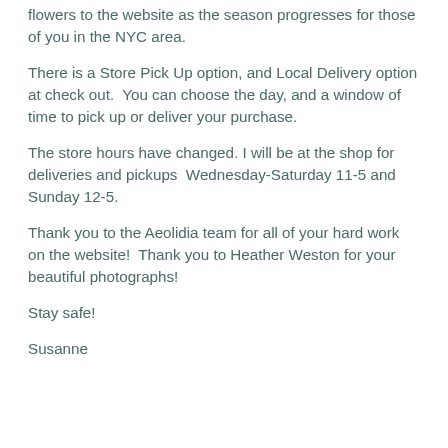flowers to the website as the season progresses for those of you in the NYC area.
There is a Store Pick Up option, and Local Delivery option at check out.  You can choose the day, and a window of time to pick up or deliver your purchase.
The store hours have changed. I will be at the shop for deliveries and pickups  Wednesday-Saturday 11-5 and Sunday 12-5.
Thank you to the Aeolidia team for all of your hard work on the website!  Thank you to Heather Weston for your beautiful photographs!
Stay safe!
Susanne